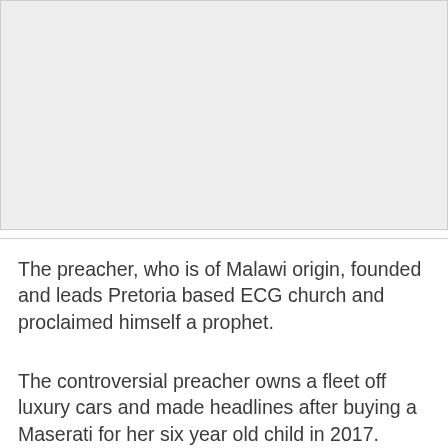[Figure (photo): Gray placeholder image area at the top of the page]
The preacher, who is of Malawi origin, founded and leads Pretoria based ECG church and proclaimed himself a prophet.
The controversial preacher owns a fleet off luxury cars and made headlines after buying a Maserati for her six year old child in 2017.